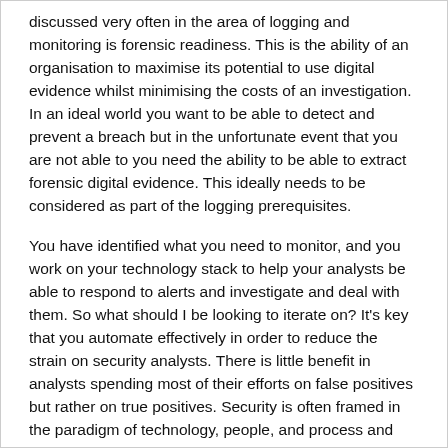discussed very often in the area of logging and monitoring is forensic readiness. This is the ability of an organisation to maximise its potential to use digital evidence whilst minimising the costs of an investigation. In an ideal world you want to be able to detect and prevent a breach but in the unfortunate event that you are not able to you need the ability to be able to extract forensic digital evidence. This ideally needs to be considered as part of the logging prerequisites.
You have identified what you need to monitor, and you work on your technology stack to help your analysts be able to respond to alerts and investigate and deal with them. So what should I be looking to iterate on? It's key that you automate effectively in order to reduce the strain on security analysts. There is little benefit in analysts spending most of their efforts on false positives but rather on true positives. Security is often framed in the paradigm of technology, people, and process and this is a good way to look at these things hence as part of your evaluation the processes being used as part of the security operations